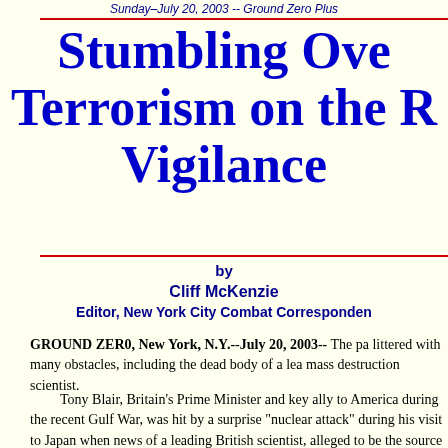Sunday–July 20, 2003 -- Ground Zero Plus
Stumbling Over Terrorism on the Road to Vigilance
by
Cliff McKenzie
Editor, New York City Combat Correspondent
GROUND ZER0, New York, N.Y.--July 20, 2003-- The path is littered with many obstacles, including the dead body of a leading mass destruction scientist.
Tony Blair, Britain's Prime Minister and key ally to America during the recent Gulf War, was hit by a surprise "nuclear attack" during his visit to Japan when news of a leading British scientist, alleged to be the source for a BBC News broadcast that the